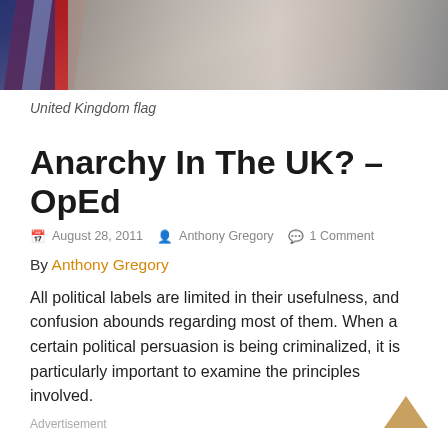[Figure (photo): Cropped photo of a United Kingdom flag against an outdoor background]
United Kingdom flag
Anarchy In The UK? – OpEd
August 28, 2011   Anthony Gregory   1 Comment
By Anthony Gregory
All political labels are limited in their usefulness, and confusion abounds regarding most of them. When a certain political persuasion is being criminalized, it is particularly important to examine the principles involved.
Advertisement